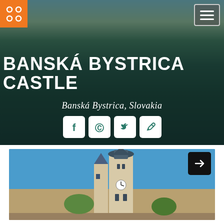[Figure (screenshot): Website header screenshot of Banská Bystrica Castle page with hero image of castle on hill, navigation logo and hamburger menu, title text, subtitle, social media icons, and a photo of church towers below]
BANSKÁ BYSTRICA CASTLE
Banská Bystrica, Slovakia
[Figure (photo): Photo of church towers in Banská Bystrica against a blue sky]